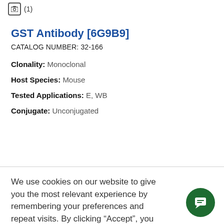(1)
GST Antibody [6G9B9]
CATALOG NUMBER: 32-166
Clonality: Monoclonal
Host Species: Mouse
Tested Applications: E, WB
Conjugate: Unconjugated
We use cookies on our website to give you the most relevant experience by remembering your preferences and repeat visits. By clicking “Accept”, you consent to the use of cookies.
Accept
Reject